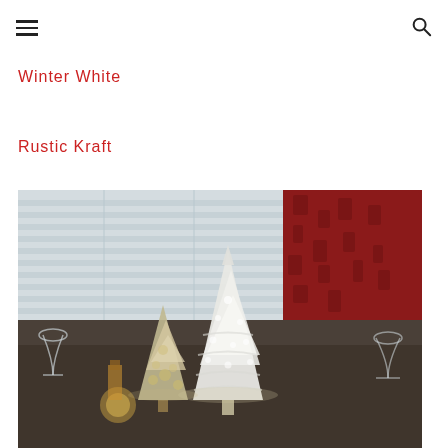[hamburger menu icon] [search icon]
Winter White
Rustic Kraft
[Figure (photo): A holiday table setting photographed from close range, featuring white ceramic Christmas tree figurines and silver/mercury glass tree ornaments in the foreground. In the background are white plantation shutters and a red patterned curtain. Wine glasses and table settings are visible on the sides.]